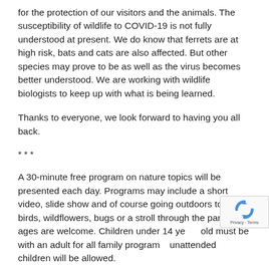for the protection of our visitors and the animals. The susceptibility of wildlife to COVID-19 is not fully understood at present. We do know that ferrets are at high risk, bats and cats are also affected. But other species may prove to be as well as the virus becomes better understood. We are working with wildlife biologists to keep up with what is being learned.
Thanks to everyone, we look forward to having you all back.
***
A 30-minute free program on nature topics will be presented each day. Programs may include a short video, slide show and of course going outdoors to enjoy birds, wildflowers, bugs or a stroll through the park. All ages are welcome. Children under 14 years old must be with an adult for all family programs; unattended children will be allowed.